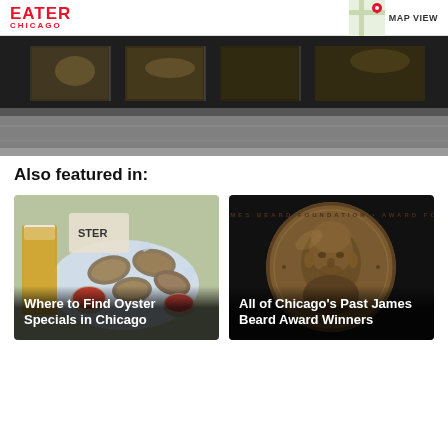EATER CHICAGO | MAP VIEW
[Figure (photo): Exterior storefront photo of a restaurant, dark/dim lighting showing windows and sidewalk]
Also featured in:
[Figure (photo): Oysters on ice with beer and dipping sauces, restaurant setting]
Where to Find Oyster Specials in Chicago
[Figure (photo): Close-up of a bronze James Beard Foundation Award medal showing a face in relief]
All of Chicago's Past James Beard Award Winners